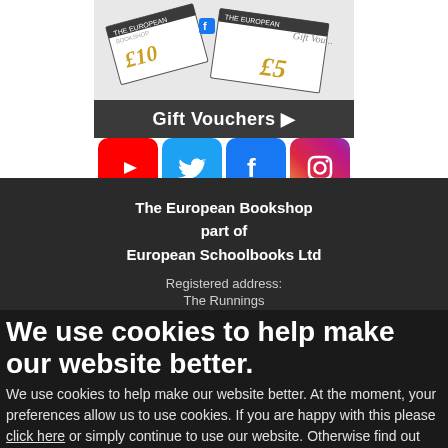[Figure (illustration): Gift vouchers promotional banner showing £10 and £5 gift vouchers with a dark bar labeled 'Gift Vouchers ▶']
[Figure (infographic): Four social media icons: YouTube (red), Twitter (blue), Facebook (blue), Instagram (gradient purple/orange)]
The European Bookshop
part of
European Schoolbooks Ltd

Registered address:
The Runnings
Cheltenham
We use cookies to help make our website better.
We use cookies to help make our website better. At the moment, your preferences allow us to use cookies. If you are happy with this please click here or simply continue to use our website. Otherwise find out more and amend your preferences here.